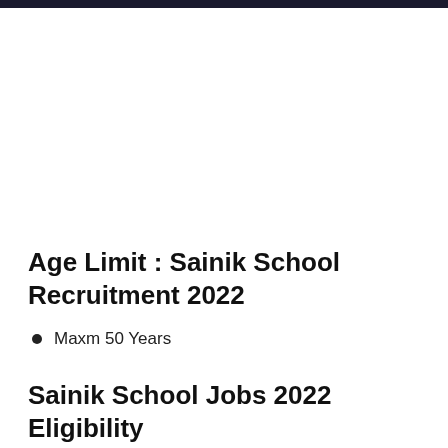Age Limit : Sainik School Recruitment 2022
Maxm 50 Years
Sainik School Jobs 2022 Eligibility